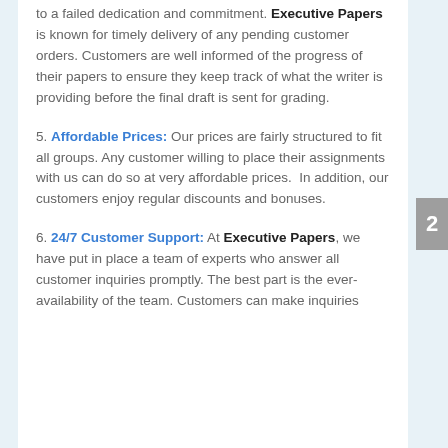to a failed dedication and commitment. Executive Papers is known for timely delivery of any pending customer orders. Customers are well informed of the progress of their papers to ensure they keep track of what the writer is providing before the final draft is sent for grading.
5. Affordable Prices: Our prices are fairly structured to fit all groups. Any customer willing to place their assignments with us can do so at very affordable prices. In addition, our customers enjoy regular discounts and bonuses.
6. 24/7 Customer Support: At Executive Papers, we have put in place a team of experts who answer all customer inquiries promptly. The best part is the ever-availability of the team. Customers can make inquiries